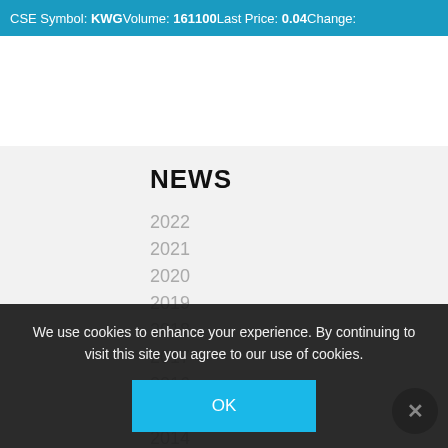CSE Symbol: KWG   Volume: 161100   Last Price: 0.04   Change:
NEWS
2022
2021
2020
2019
2018
2017
2016
2015
2014
2013
2012
2011
2010
We use cookies to enhance your experience. By continuing to visit this site you agree to our use of cookies.